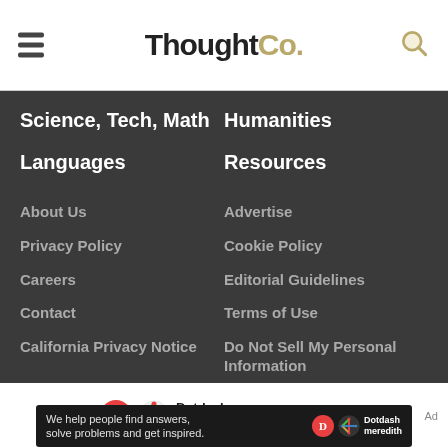ThoughtCo.
Science, Tech, Math
Humanities
Languages
Resources
About Us
Advertise
Privacy Policy
Cookie Policy
Careers
Editorial Guidelines
Contact
Terms of Use
California Privacy Notice
Do Not Sell My Personal Information
[Figure (logo): Dotdash Meredith logo with D circle and snowflake icon]
We help people find answers, solve problems and get inspired.